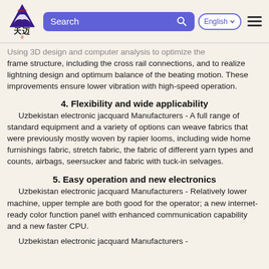Eagle 天迈 | Search | English | Menu
Using 3D design and computer analysis to optimize the frame structure, including the cross rail connections, and to realize lightning design and optimum balance of the beating motion. These improvements ensure lower vibration with high-speed operation.
4. Flexibility and wide applicability
Uzbekistan electronic jacquard Manufacturers - A full range of standard equipment and a variety of options can weave fabrics that were previously mostly woven by rapier looms, including wide home furnishings fabric, stretch fabric, the fabric of different yarn types and counts, airbags, seersucker and fabric with tuck-in selvages.
5. Easy operation and new electronics
Uzbekistan electronic jacquard Manufacturers - Relatively lower machine, upper temple are both good for the operator; a new internet-ready color function panel with enhanced communication capability and a new faster CPU.
Uzbekistan electronic jacquard Manufacturers -